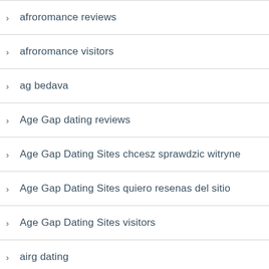afroromance reviews
afroromance visitors
ag bedava
Age Gap dating reviews
Age Gap Dating Sites chcesz sprawdzic witryne
Age Gap Dating Sites quiero resenas del sitio
Age Gap Dating Sites visitors
airg dating
Airg instalar
AirG over here